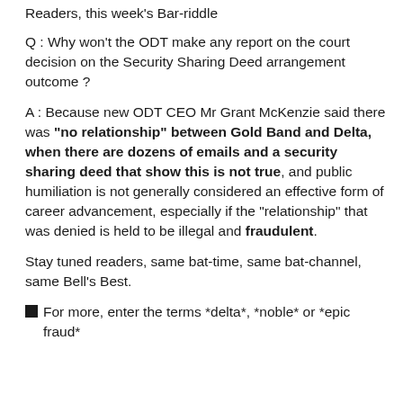Readers, this week's Bar-riddle
Q : Why won't the ODT make any report on the court decision on the Security Sharing Deed arrangement outcome ?
A : Because new ODT CEO Mr Grant McKenzie said there was "no relationship" between Gold Band and Delta, when there are dozens of emails and a security sharing deed that show this is not true, and public humiliation is not generally considered an effective form of career advancement, especially if the "relationship" that was denied is held to be illegal and fraudulent.
Stay tuned readers, same bat-time, same bat-channel, same Bell's Best.
For more, enter the terms *delta*, *noble* or *epic fraud*